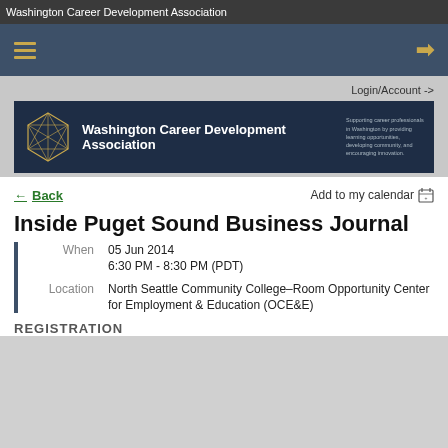Washington Career Development Association
[Figure (screenshot): Navigation bar with hamburger menu icon and login arrow icon on dark blue background]
Login/Account ->
[Figure (logo): Washington Career Development Association banner with geodesic dome logo, organization name, and tagline on dark navy background with tree silhouette]
← Back
Add to my calendar 📅
Inside Puget Sound Business Journal
When	05 Jun 2014
6:30 PM - 8:30 PM (PDT)
Location	North Seattle Community College–Room Opportunity Center for Employment & Education (OCE&E)
REGISTRATION